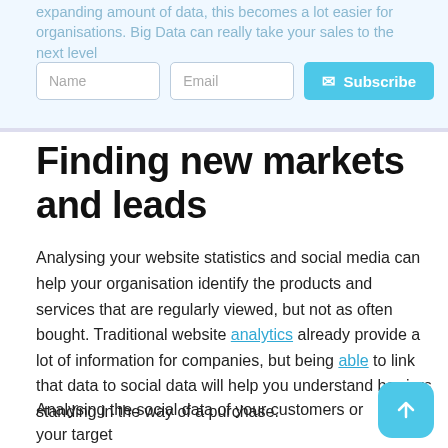expanding amount of data, this becomes a lot easier for organisations. Big Data can really take your sales to the next level
Finding new markets and leads
Analysing your website statistics and social media can help your organisation identify the products and services that are regularly viewed, but not as often bought. Traditional website analytics already provide a lot of information for companies, but being able to link that data to social data will help you understand barriers standing in the way of a purchase.
Analysing the social data of your customers or your target